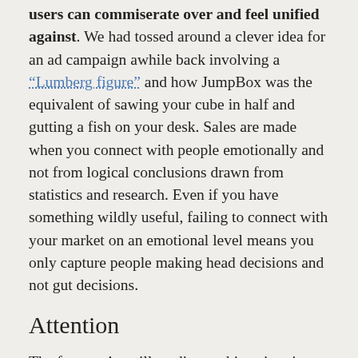users can commiserate over and feel unified against. We had tossed around a clever idea for an ad campaign awhile back involving a “Lumberg figure” and how JumpBox was the equivalent of sawing your cube in half and gutting a fish on your desk. Sales are made when you connect with people emotionally and not from logical conclusions drawn from statistics and research. Even if you have something wildly useful, failing to connect with your market on an emotional level means you only capture people making head decisions and not gut decisions.
Attention
The fact you’re still reading at this point given the length of this post is laudable, so thanks for your attention. The point of this chapter is very simply: if you’re average you’re invisible. Hughes says we can